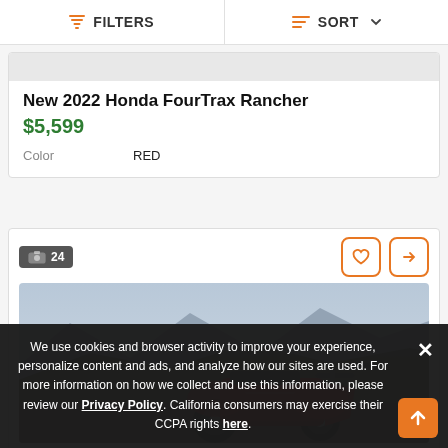FILTERS   SORT
New 2022 Honda FourTrax Rancher
$5,599
Color   RED
[Figure (screenshot): Listing card for a red ATV with 24 photos badge, heart and compare icons, and a photo of a red Honda FourTrax ATV on a hillside]
We use cookies and browser activity to improve your experience, personalize content and ads, and analyze how our sites are used. For more information on how we collect and use this information, please review our Privacy Policy. California consumers may exercise their CCPA rights here.